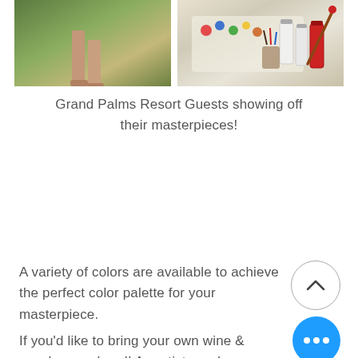[Figure (photo): Two photos side by side cropped at top: left shows a person's legs/feet outdoors near water and greenery, right shows art supplies including paint bottles and brushes on a table]
Grand Palms Resort Guests showing off their masterpieces!
A variety of colors are available to achieve the perfect color palette for your masterpiece.
If you'd like to bring your own wine & snacks, go ahead! An artist needs...